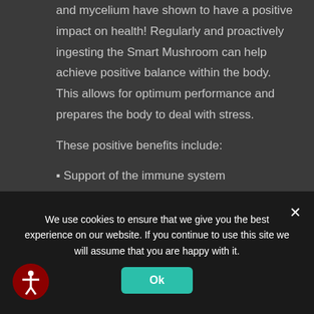and mycelium have shown to have a positive impact on health! Regularly and proactively ingesting the Smart Mushroom can help achieve positive balance within the body. This allows for optimum performance and prepares the body to deal with stress.
These positive benefits include:
Support of the immune system
Increase in stamina
We use cookies to ensure that we give you the best experience on our website. If you continue to use this site we will assume that you are happy with it.